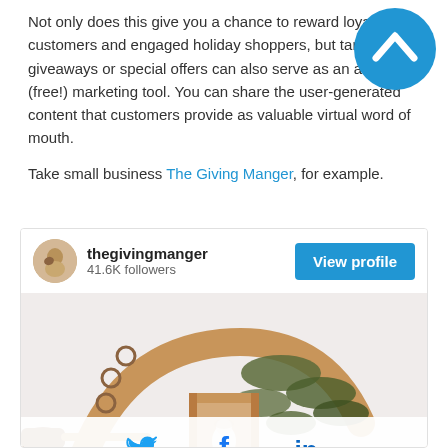Not only does this give you a chance to reward loyal customers and engaged holiday shoppers, but targeted giveaways or special offers can also serve as an additional (free!) marketing tool. You can share the user-generated content that customers provide as valuable virtual word of mouth.
Take small business The Giving Manger, for example.
[Figure (screenshot): Instagram profile card for thegivingmanger with 41.6K followers, a View profile button, a photo of a wooden nativity scene with greenery, and social sharing icons for Twitter, Facebook, and LinkedIn.]